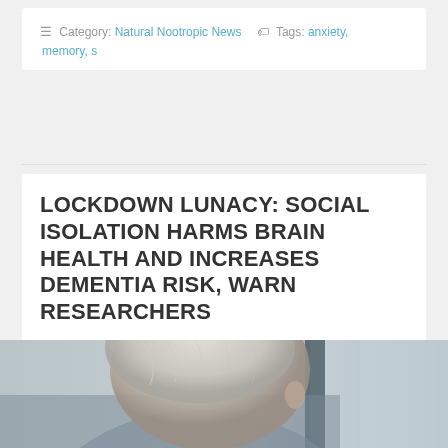Category: Natural Nootropic News  Tags: anxiety, memory, s
LOCKDOWN LUNACY: SOCIAL ISOLATION HARMS BRAIN HEALTH AND INCREASES DEMENTIA RISK, WARN RESEARCHERS
Posted on June 24, 2022 by Natagrow
Leave a Comment
[Figure (photo): Elderly person with white hair seen from behind, looking toward a window, in a muted blue-grey interior setting.]